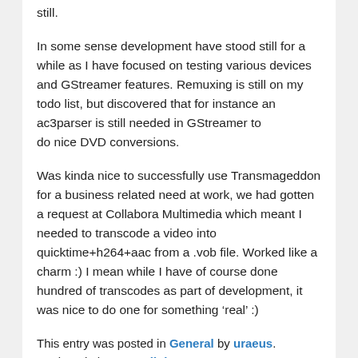still.
In some sense development have stood still for a while as I have focused on testing various devices and GStreamer features. Remuxing is still on my todo list, but discovered that for instance an ac3parser is still needed in GStreamer to
do nice DVD conversions.
Was kinda nice to successfully use Transmageddon for a business related need at work, we had gotten a request at Collabora Multimedia which meant I needed to transcode a video into quicktime+h264+aac from a .vob file. Worked like a charm :) I mean while I have of course done hundred of transcodes as part of development, it was nice to do one for something ‘real’ :)
This entry was posted in General by uraeus. Bookmark the permalink.
4 THOUGHTS ON “TRANSMAGEDDON 0.11 ‘GUADEC EDITION’”